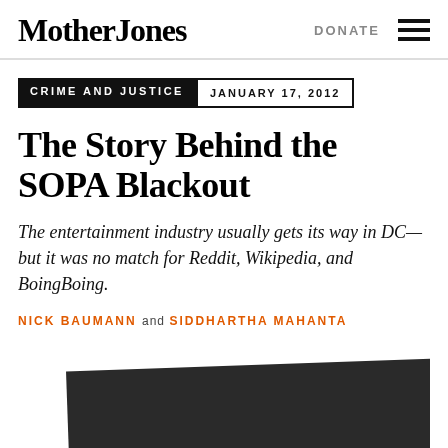Mother Jones | DONATE
CRIME AND JUSTICE   JANUARY 17, 2012
The Story Behind the SOPA Blackout
The entertainment industry usually gets its way in DC—but it was no match for Reddit, Wikipedia, and BoingBoing.
NICK BAUMANN and SIDDHARTHA MAHANTA
[Figure (photo): Dark/black screenshot representing the SOPA blackout]